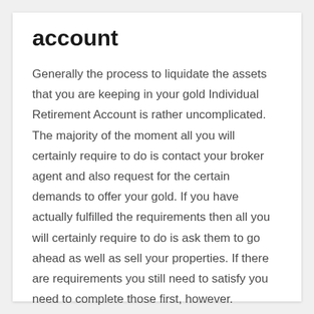account
Generally the process to liquidate the assets that you are keeping in your gold Individual Retirement Account is rather uncomplicated. The majority of the moment all you will certainly require to do is contact your broker agent and also request for the certain demands to offer your gold. If you have actually fulfilled the requirements then all you will certainly require to do is ask them to go ahead as well as sell your properties. If there are requirements you still need to satisfy you need to complete those first, however.